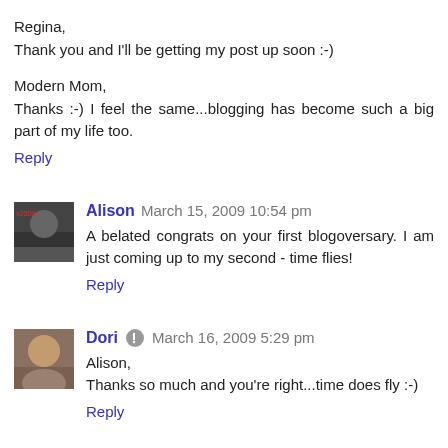Regina,
Thank you and I'll be getting my post up soon :-)
Modern Mom,
Thanks :-) I feel the same...blogging has become such a big part of my life too.
Reply
Alison  March 15, 2009 10:54 pm
A belated congrats on your first blogoversary. I am just coming up to my second - time flies!
Reply
Dori  March 16, 2009 5:29 pm
Alison,
Thanks so much and you're right...time does fly :-)
Reply